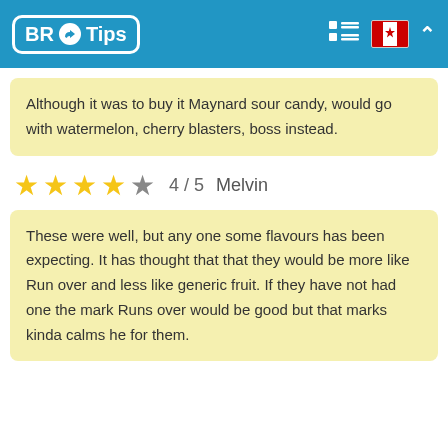BR Tips
Although it was to buy it Maynard sour candy, would go with watermelon, cherry blasters, boss instead.
4 / 5  Melvin
These were well, but any one some flavours has been expecting. It has thought that that they would be more like Run over and less like generic fruit. If they have not had one the mark Runs over would be good but that marks kinda calms he for them.